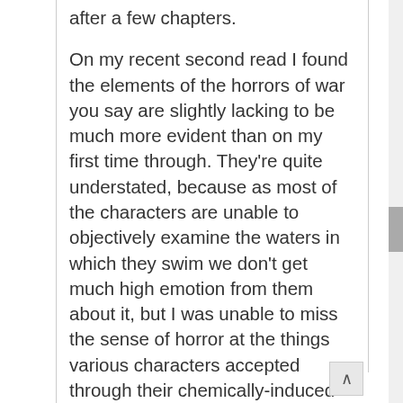after a few chapters.
On my recent second read I found the elements of the horrors of war you say are slightly lacking to be much more evident than on my first time through. They're quite understated, because as most of the characters are unable to objectively examine the waters in which they swim we don't get much high emotion from them about it, but I was unable to miss the sense of horror at the things various characters accepted through their chemically-induced stoicism.